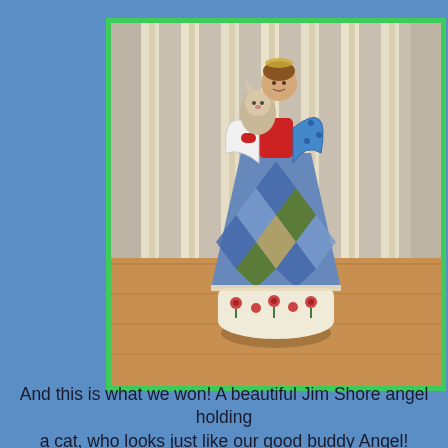[Figure (photo): A decorative Jim Shore angel figurine holding a cat, wearing a harlequin-patterned blue and multicolor dress with white wings, standing on a wooden surface in front of white vertical blinds. The figurine has a bell-shaped skirt with floral designs at the bottom.]
And this is what we won! A beautiful Jim Shore angel holding a cat, who looks just like our good buddy Angel!